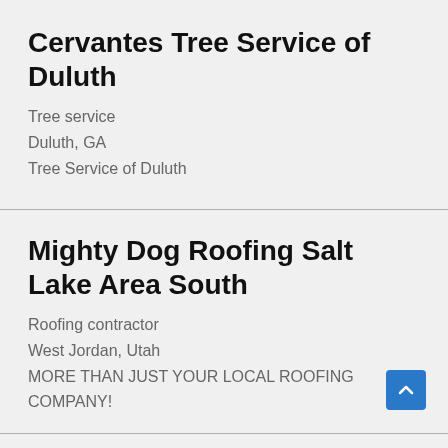Cervantes Tree Service of Duluth
Tree service
Duluth, GA
Tree Service of Duluth
Mighty Dog Roofing Salt Lake Area South
Roofing contractor
West Jordan, Utah
MORE THAN JUST YOUR LOCAL ROOFING COMPANY!